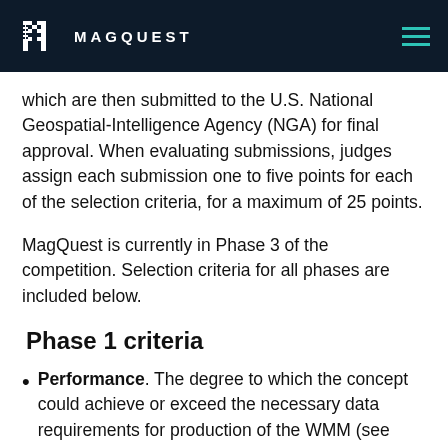MAGQUEST
which are then submitted to the U.S. National Geospatial-Intelligence Agency (NGA) for final approval. When evaluating submissions, judges assign each submission one to five points for each of the selection criteria, for a maximum of 25 points.
MagQuest is currently in Phase 3 of the competition. Selection criteria for all phases are included below.
Phase 1 criteria
Performance. The degree to which the concept could achieve or exceed the necessary data requirements for production of the WMM (see Target Performance Metrics).